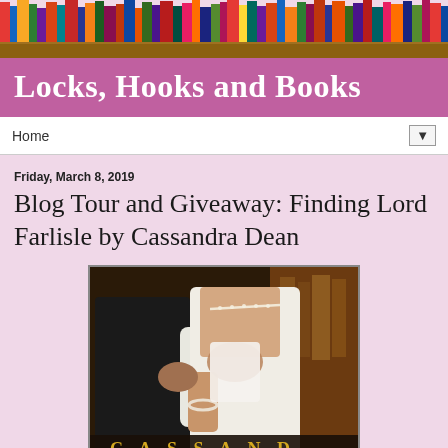[Figure (photo): Bookshelf banner with colorful book spines visible]
Locks, Hooks and Books
Home
Friday, March 8, 2019
Blog Tour and Giveaway: Finding Lord Farlisle by Cassandra Dean
[Figure (photo): Romance novel book cover for Finding Lord Farlisle by Cassandra Dean, showing a couple embracing, woman in white dress with pearl necklace and bracelet]